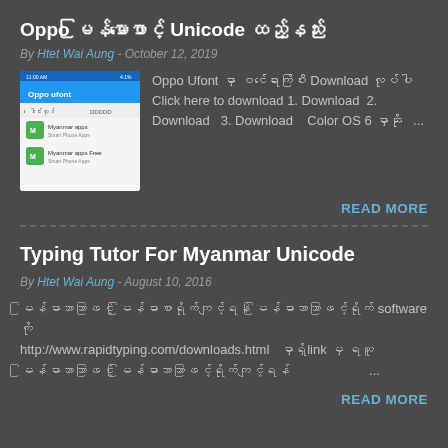Oppo မြန်မာဖောင့် Unicode ထည့်နည်း
By Htet Wai Aung - October 12, 2019
[Figure (screenshot): Screenshot of Oppo Ufont app showing Myanmar apps list]
Oppo Ufont မှာ ဝင်ရောက်ပြီး Download လုပ်ပါ Click here to download 1. Download  2. Download  3. Download   Color OS 6 မှာဆို ...
READ MORE
Typing Tutor For Myanmar Unicode
By Htet Wai Aung - August 10, 2016
မြန်မာဘာသာဖြင့် မြန်မာစာရိုက်ကျင့်ရန် software ကိုhttp://www.rapidtyping.com/downloads.html  မှာရှိ link မှ ရယူ မြန်မာဘာသာဖြင့် မြန်မာဘာသာဖြင့်ရိုက်ကျင့်ရန် ...
READ MORE